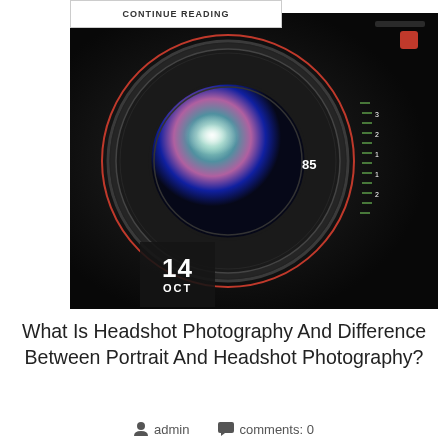CONTINUE READING
[Figure (photo): Close-up photo of a Canon camera lens (85mm) with green focus markings and red ring, mounted on a dark camera body. Date badge showing '14 OCT' overlaid on lower left of the image.]
What Is Headshot Photography And Difference Between Portrait And Headshot Photography?
admin   comments: 0